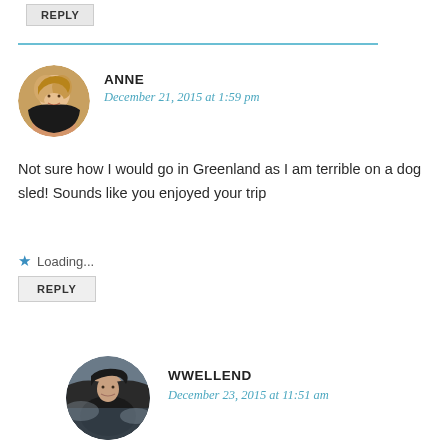[Figure (other): Partial reply button at top of page]
[Figure (photo): Circular avatar photo of Anne, a smiling woman with blonde hair]
ANNE
December 21, 2015 at 1:59 pm
Not sure how I would go in Greenland as I am terrible on a dog sled! Sounds like you enjoyed your trip
Loading...
REPLY
[Figure (photo): Circular avatar photo of wwellend, a person in dark clothing with a misty background]
WWELLEND
December 23, 2015 at 11:51 am